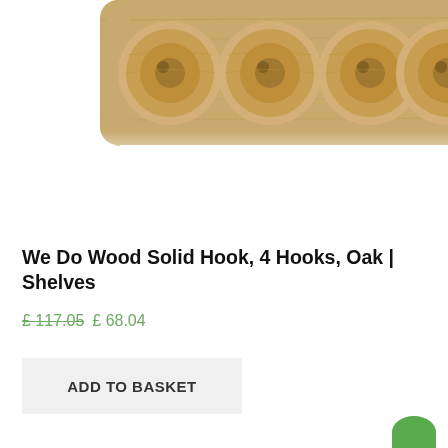[Figure (photo): Close-up photo of a wooden hook rack with 4 circular carved hooks, made of oak wood with visible wood grain texture. The rack is partially visible, cropped at the top of the image.]
We Do Wood Solid Hook, 4 Hooks, Oak | Shelves
£ 117.05 £ 68.04
ADD TO BASKET